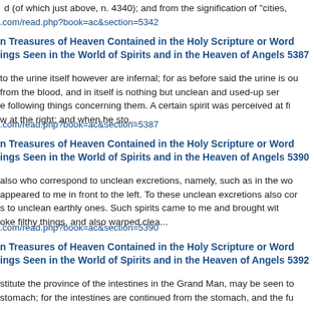d (of which just above, n. 4340); and from the signification of "cities,"
.com/read.php?book=ac&section=5342
n Treasures of Heaven Contained in the Holy Scripture or Word ings Seen in the World of Spirits and in the Heaven of Angels 5387
to the urine itself however are infernal; for as before said the urine is ou from the blood, and in itself is nothing but unclean and used-up ser e following things concerning them. A certain spirit was perceived at fi w at the right; and when he sto...
.com/read.php?book=ac&section=5387
n Treasures of Heaven Contained in the Holy Scripture or Word ings Seen in the World of Spirits and in the Heaven of Angels 5390
also who correspond to unclean excretions, namely, such as in the wo appeared to me in front to the left. To these unclean excretions also cor s to unclean earthly ones. Such spirits came to me and brought wit oke filthy things, and also warped clea...
.com/read.php?book=ac&section=5390
n Treasures of Heaven Contained in the Holy Scripture or Word ings Seen in the World of Spirits and in the Heaven of Angels 5392
stitute the province of the intestines in the Grand Man, may be seen t stomach; for the intestines are continued from the stomach, and the fu